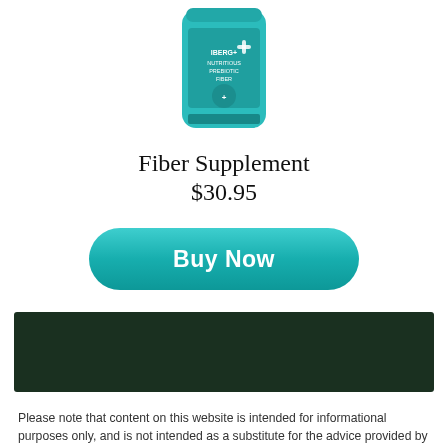[Figure (photo): Teal/turquoise cylindrical supplement container labeled 'FIBER+', partially cropped at top]
Fiber Supplement
$30.95
[Figure (other): Teal 'Buy Now' rounded button]
[Figure (other): Dark green/forest colored horizontal banner bar]
Please note that content on this website is intended for informational purposes only, and is not intended as a substitute for the advice provided by your physician or other healthcare professional, nor is it meant to diagnose or treat a health problem, symptom or disease. Always speak with your physician or other healthcare professional before taking any medication or nutritional supplement, or using any treatment for a health problem. If you have or suspect that you have a medical problem, contact your health care provider promptly. Do not disregard professional medical advice or delay in seeking professional advice because of something you have read